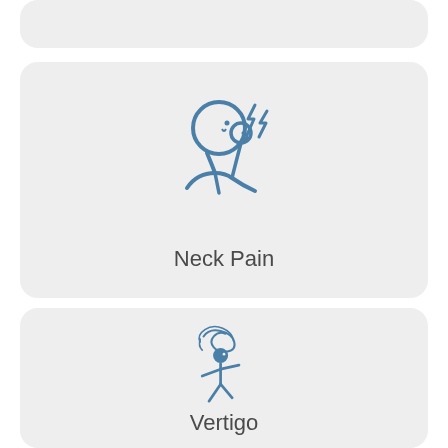[Figure (illustration): Partial view of a card/tile with rounded corners, grey background, content cropped at top]
[Figure (illustration): Medical symptom card with blue line-art icon of a person holding their neck with pain lightning bolts, labeled Neck Pain]
Neck Pain
[Figure (illustration): Medical symptom card with blue icon of a person with swirling dizzy lines around head walking unsteadily, labeled Vertigo]
Vertigo